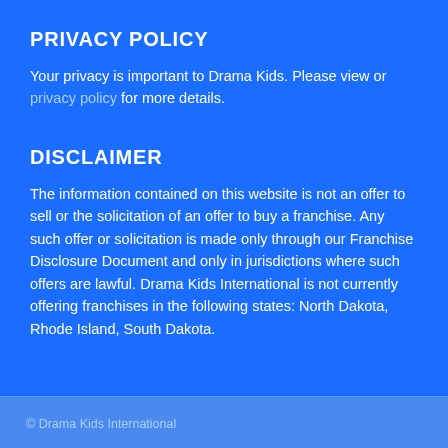PRIVACY POLICY
Your privacy is important to Drama Kids. Please view or privacy policy for more details.
DISCLAIMER
The information contained on this website is not an offer to sell or the solicitation of an offer to buy a franchise. Any such offer or solicitation is made only through our Franchise Disclosure Document and only in jurisdictions where such offers are lawful. Drama Kids International is not currently offering franchises in the following states: North Dakota, Rhode Island, South Dakota.
© Drama Kids International